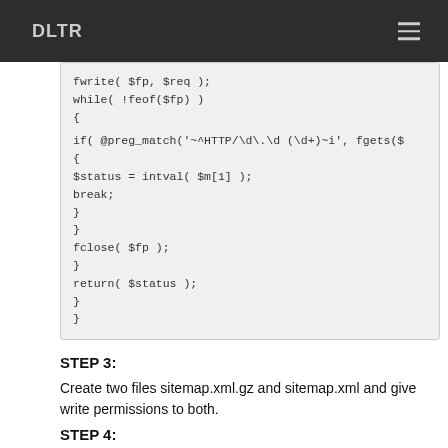DLTR
[Figure (screenshot): Code block showing PHP code snippet with fwrite, while loop, preg_match, status assignment, break, fclose, and return statements]
STEP 3:
Create two files sitemap.xml.gz and sitemap.xml and give write permissions to both.
STEP 4:
Now time to generate sitemap and notify google about new